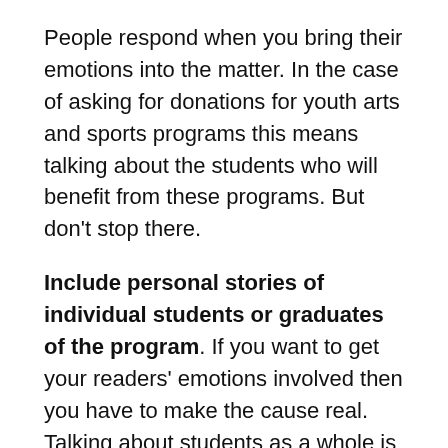People respond when you bring their emotions into the matter. In the case of asking for donations for youth arts and sports programs this means talking about the students who will benefit from these programs. But don't stop there.
Include personal stories of individual students or graduates of the program. If you want to get your readers' emotions involved then you have to make the cause real. Talking about students as a whole is fine but a bit abstract. Adding some specific examples takes your 'general good cause for kids' to one that supports real students whose lives have been bettered by these programs. (If you're planning on using names make sure you get proper